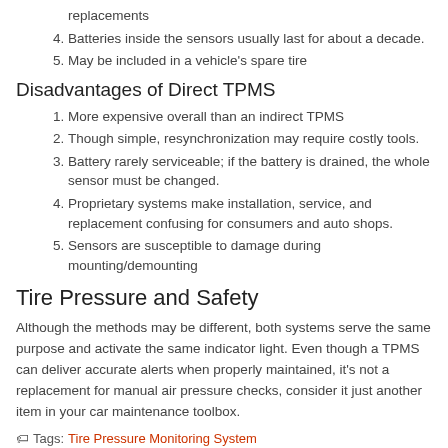replacements
4. Batteries inside the sensors usually last for about a decade.
5. May be included in a vehicle's spare tire
Disadvantages of Direct TPMS
1. More expensive overall than an indirect TPMS
2. Though simple, resynchronization may require costly tools.
3. Battery rarely serviceable; if the battery is drained, the whole sensor must be changed.
4. Proprietary systems make installation, service, and replacement confusing for consumers and auto shops.
5. Sensors are susceptible to damage during mounting/demounting
Tire Pressure and Safety
Although the methods may be different, both systems serve the same purpose and activate the same indicator light. Even though a TPMS can deliver accurate alerts when properly maintained, it's not a replacement for manual air pressure checks, consider it just another item in your car maintenance toolbox.
Tags: Tire Pressure Monitoring System